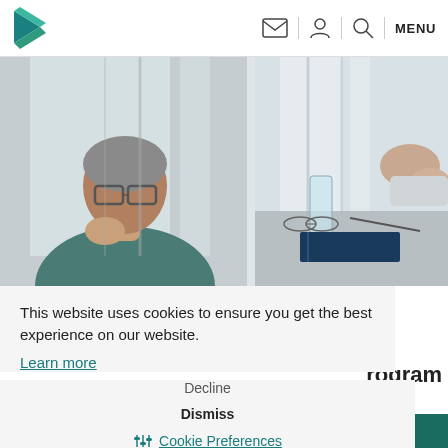[Figure (logo): K brand logo in teal/green colors, top left navigation bar]
[Figure (photo): Website screenshot showing a man with glasses looking thoughtful (left) and a meeting scene with hands clasped on desk (right)]
This website uses cookies to ensure you get the best experience on our website.
Learn more
Decline
Dismiss
Cookie Preferences
rogram